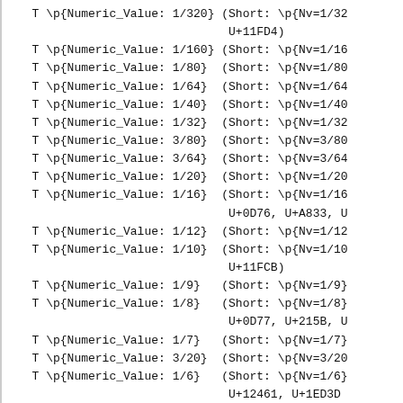T \p{Numeric_Value: 1/320} (Short: \p{Nv=1/32... U+11FD4)
T \p{Numeric_Value: 1/160} (Short: \p{Nv=1/16...
T \p{Numeric_Value: 1/80}  (Short: \p{Nv=1/80...
T \p{Numeric_Value: 1/64}  (Short: \p{Nv=1/64...
T \p{Numeric_Value: 1/40}  (Short: \p{Nv=1/40...
T \p{Numeric_Value: 1/32}  (Short: \p{Nv=1/32...
T \p{Numeric_Value: 3/80}  (Short: \p{Nv=3/80...
T \p{Numeric_Value: 3/64}  (Short: \p{Nv=3/64...
T \p{Numeric_Value: 1/20}  (Short: \p{Nv=1/20...
T \p{Numeric_Value: 1/16}  (Short: \p{Nv=1/16... U+0D76, U+A833, U...
T \p{Numeric_Value: 1/12}  (Short: \p{Nv=1/12...
T \p{Numeric_Value: 1/10}  (Short: \p{Nv=1/10... U+11FCB)
T \p{Numeric_Value: 1/9}   (Short: \p{Nv=1/9}...
T \p{Numeric_Value: 1/8}   (Short: \p{Nv=1/8}... U+0D77, U+215B, U...
T \p{Numeric_Value: 1/7}   (Short: \p{Nv=1/7}...
T \p{Numeric_Value: 3/20}  (Short: \p{Nv=3/20...
T \p{Numeric_Value: 1/6}   (Short: \p{Nv=1/6}... U+12461, U+1ED3D...
T \p{Numeric_Value: 3/16}  (Short: \p{Nv=3/16...